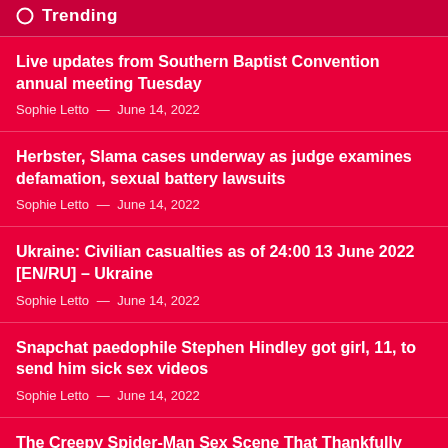Trending
Live updates from Southern Baptist Convention annual meeting Tuesday
Sophie Letto — June 14, 2022
Herbster, Slama cases underway as judge examines defamation, sexual battery lawsuits
Sophie Letto — June 14, 2022
Ukraine: Civilian casualties as of 24:00 13 June 2022 [EN/RU] – Ukraine
Sophie Letto — June 14, 2022
Snapchat paedophile Stephen Hindley got girl, 11, to send him sick sex videos
Sophie Letto — June 14, 2022
The Creepy Spider-Man Sex Scene That Thankfully